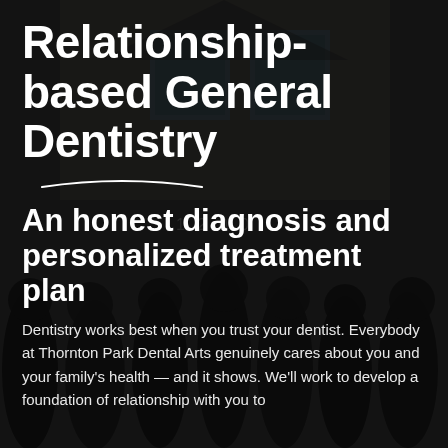[Figure (photo): Dark background photo of dental office staff group (about 8 people) in black uniforms standing in front of a building with address 1200, overlaid with a dark semi-transparent layer.]
Relationship-based General Dentistry
An honest diagnosis and personalized treatment plan
Dentistry works best when you trust your dentist. Everybody at Thornton Park Dental Arts genuinely cares about you and your family's health — and it shows. We'll work to develop a foundation of relationship with you to...